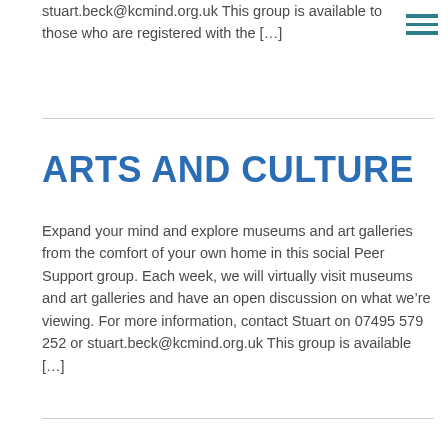stuart.beck@kcmind.org.uk This group is available to those who are registered with the [...]
ARTS AND CULTURE
Expand your mind and explore museums and art galleries from the comfort of your own home in this social Peer Support group. Each week, we will virtually visit museums and art galleries and have an open discussion on what we're viewing. For more information, contact Stuart on 07495 579 252 or stuart.beck@kcmind.org.uk This group is available [...]